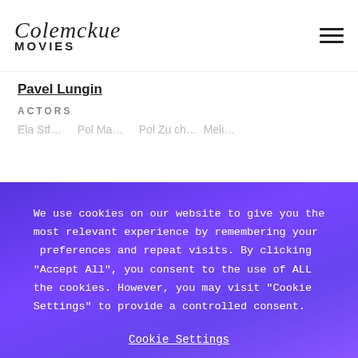Colemckue MOVIES
Pavel Lungin
ACTORS
We use cookies on our website to give you the most relevant experience by remembering your preferences and repeat visits. By clicking "Accept All", you consent to the use of ALL the cookies. However, you may visit "Cookie Settings" to provide a controlled consent.
Cookie Settings
Accept All